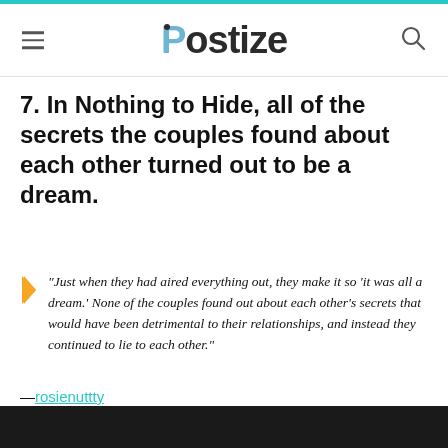Postize
7. In Nothing to Hide, all of the secrets the couples found about each other turned out to be a dream.
"Just when they had aired everything out, they make it so 'it was all a dream.' None of the couples found out about each other's secrets that would have been detrimental to their relationships, and instead they continued to lie to each other."
—rosienuttty
[Figure (photo): Dark partial image at bottom of page]